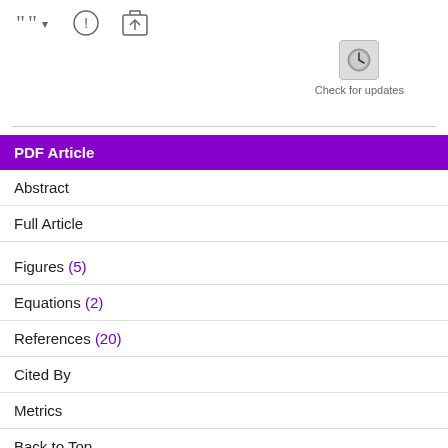[Figure (screenshot): Toolbar icons: quote/cite dropdown, info circle icon, upload-to-folder icon]
[Figure (screenshot): Check for updates button with clock icon]
PDF Article
Abstract
Full Article
Figures (5)
Equations (2)
References (20)
Cited By
Metrics
Back to Top